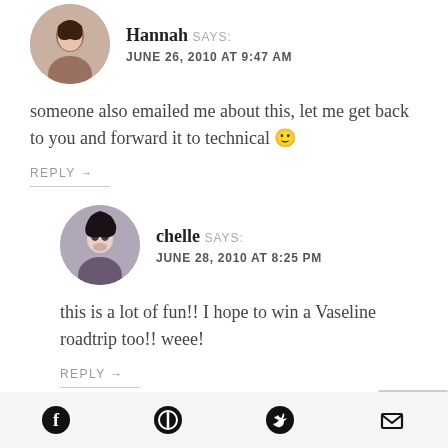[Figure (photo): Circular avatar photo of Hannah]
Hannah SAYS: JUNE 26, 2010 AT 9:47 AM
someone also emailed me about this, let me get back to you and forward it to technical 🙂
REPLY →
[Figure (photo): Circular avatar photo of chelle]
chelle SAYS: JUNE 28, 2010 AT 8:25 PM
this is a lot of fun!! I hope to win a Vaseline roadtrip too!! weee!
REPLY →
Social media share icons: Facebook, Pinterest, Twitter, Email